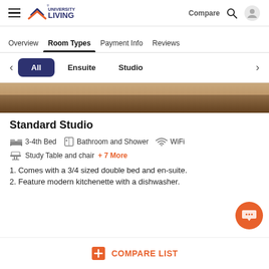University Living — Compare, Search, User
Overview   Room Types   Payment Info   Reviews
All   Ensuite   Studio
[Figure (photo): Room interior photo strip showing wooden furniture]
Standard Studio
3-4th Bed   Bathroom and Shower   WiFi
Study Table and chair  +7 More
1. Comes with a 3/4 sized double bed and en-suite.
2. Feature modern kitchenette with a dishwasher.
COMPARE LIST